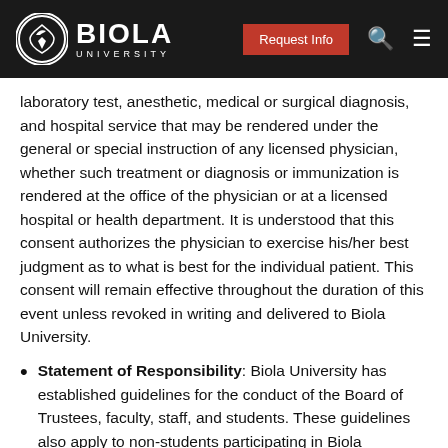BIOLA UNIVERSITY | Request Info
laboratory test, anesthetic, medical or surgical diagnosis, and hospital service that may be rendered under the general or special instruction of any licensed physician, whether such treatment or diagnosis or immunization is rendered at the office of the physician or at a licensed hospital or health department. It is understood that this consent authorizes the physician to exercise his/her best judgment as to what is best for the individual patient. This consent will remain effective throughout the duration of this event unless revoked in writing and delivered to Biola University.
Statement of Responsibility: Biola University has established guidelines for the conduct of the Board of Trustees, faculty, staff, and students. These guidelines also apply to non-students participating in Biola sponsored activities. Participants are expected to